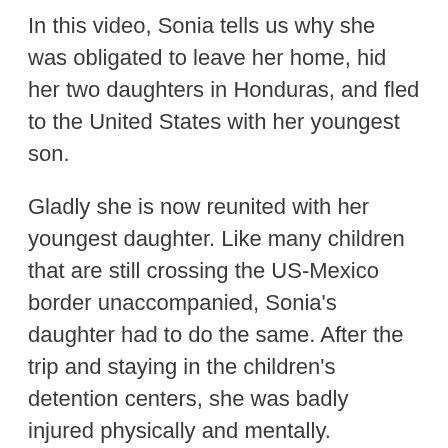In this video, Sonia tells us why she was obligated to leave her home, hid her two daughters in Honduras, and fled to the United States with her youngest son.
Gladly she is now reunited with her youngest daughter. Like many children that are still crossing the US-Mexico border unaccompanied, Sonia's daughter had to do the same. After the trip and staying in the children's detention centers, she was badly injured physically and mentally.
These children have a pathway to legal residency in the United States by the SIJS program. If you wish to learn more about it you can watch a video